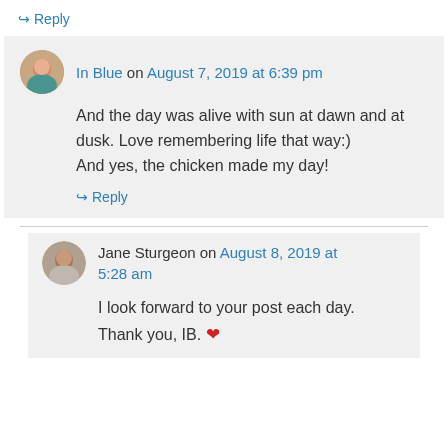↪ Reply
In Blue on August 7, 2019 at 6:39 pm
And the day was alive with sun at dawn and at dusk. Love remembering life that way:)
And yes, the chicken made my day!
↪ Reply
Jane Sturgeon on August 8, 2019 at 5:28 am
I look forward to your post each day. Thank you, IB. ❤